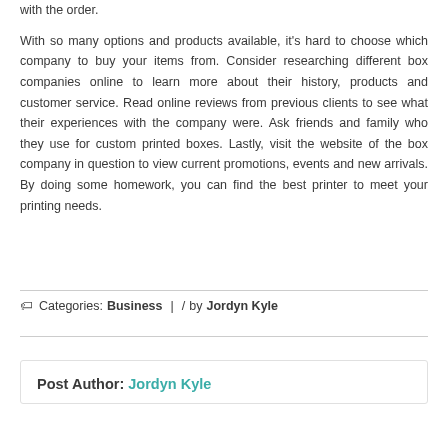with the order.
With so many options and products available, it's hard to choose which company to buy your items from. Consider researching different box companies online to learn more about their history, products and customer service. Read online reviews from previous clients to see what their experiences with the company were. Ask friends and family who they use for custom printed boxes. Lastly, visit the website of the box company in question to view current promotions, events and new arrivals. By doing some homework, you can find the best printer to meet your printing needs.
Categories: Business | / by Jordyn Kyle
Post Author: Jordyn Kyle